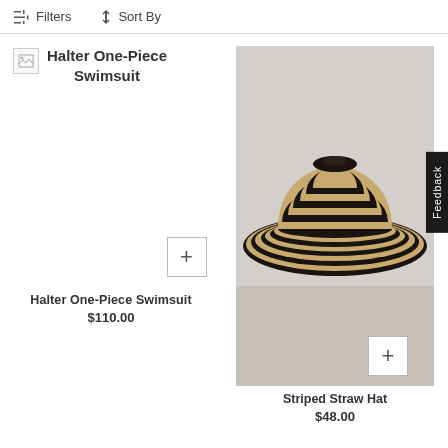Filters   Sort By
[Figure (screenshot): Broken image placeholder icon for Halter One-Piece Swimsuit product]
Halter One-Piece Swimsuit
[Figure (photo): Photo of a wide-brimmed striped straw hat with black and natural straw alternating stripes, on a grey background]
Halter One-Piece Swimsuit
$110.00
Striped Straw Hat
$48.00